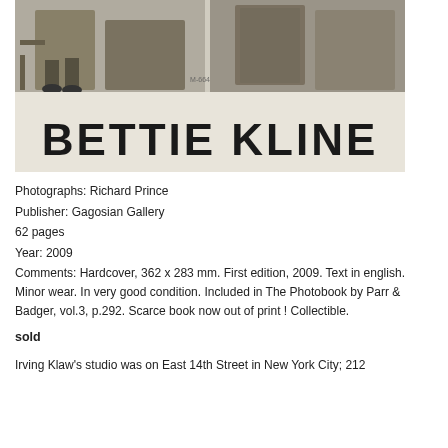[Figure (photo): Black and white photograph showing a collage of images related to Bettie Kline. Top portion shows vintage b&w photos of women. Lower portion features hand-lettered text reading 'BETTIE KLINE' in bold marker-style letters on a light background.]
Photographs: Richard Prince
Publisher: Gagosian Gallery
62 pages
Year: 2009
Comments: Hardcover, 362 x 283 mm. First edition, 2009. Text in english. Minor wear. In very good condition. Included in The Photobook by Parr & Badger, vol.3, p.292. Scarce book now out of print ! Collectible.
sold
Irving Klaw's studio was on East 14th Street in New York City; 212